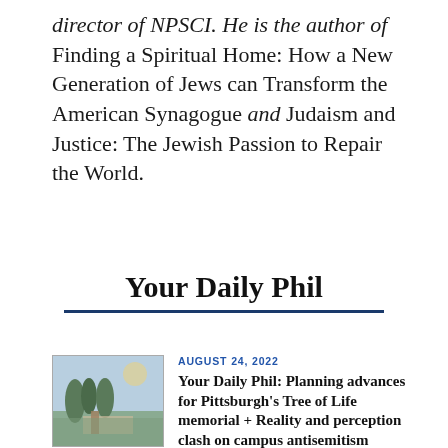director of NPSCI. He is the author of Finding a Spiritual Home: How a New Generation of Jews can Transform the American Synagogue and Judaism and Justice: The Jewish Passion to Repair the World.
Your Daily Phil
[Figure (photo): Thumbnail photo showing an outdoor scene, possibly a patio or gathering area with trees and sky in the background.]
AUGUST 24, 2022
Your Daily Phil: Planning advances for Pittsburgh's Tree of Life memorial + Reality and perception clash on campus antisemitism